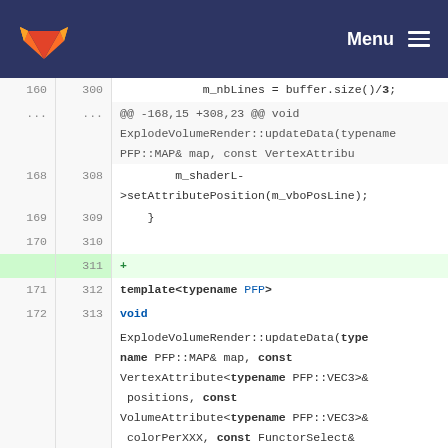GitLab Menu
[Figure (screenshot): Code diff view showing C++ template function ExplodeVolumeRender::updateData with line numbers, added/removed lines highlighted in green/red]
160 300   m_nbLines = buffer.size()/3;
... ...   @@ -168,15 +308,23 @@ void ExplodeVolumeRender::updateData(typename PFP::MAP& map, const VertexAttribu
168 308   m_shaderL->setAttributePosition(m_vboPosLine);
169 309   }
170 310
    311 +
171 312   template<typename PFP>
172 313   void
ExplodeVolumeRender::updateData(typename PFP::MAP& map, const VertexAttribute<typename PFP::VEC3>& positions, const VolumeAttribute<typename PFP::VEC3>& colorPerXXX, const FunctorSelect& good)
173 314   {
174     -   if (!m_cpf)